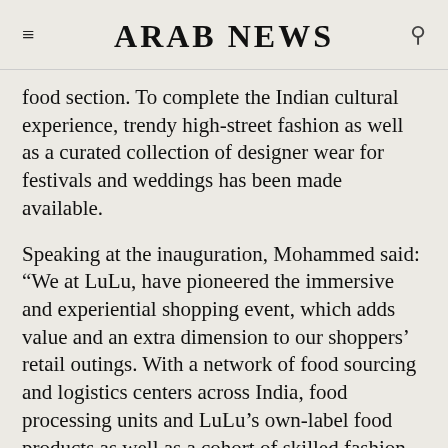ARAB NEWS
food section. To complete the Indian cultural experience, trendy high-street fashion as well as a curated collection of designer wear for festivals and weddings has been made available.
Speaking at the inauguration, Mohammed said: “We at LuLu, have pioneered the immersive and experiential shopping event, which adds value and an extra dimension to our shoppers’ retail outings. With a network of food sourcing and logistics centers across India, food processing units and LuLu’s own-label food products as well as a cohort of skilled fashion buyers who help our garments and clothing department to stay ahead of the trend,